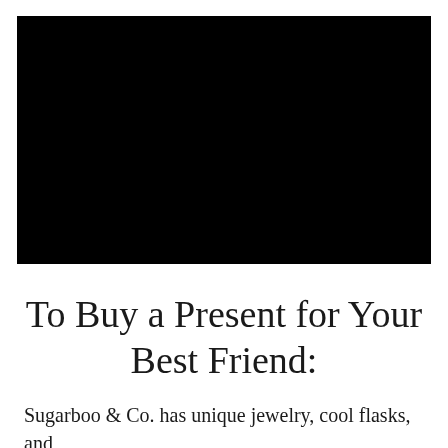[Figure (photo): A large black rectangular image, likely a photo that did not load or is fully dark.]
To Buy a Present for Your Best Friend:
Sugarboo & Co. has unique jewelry, cool flasks, and